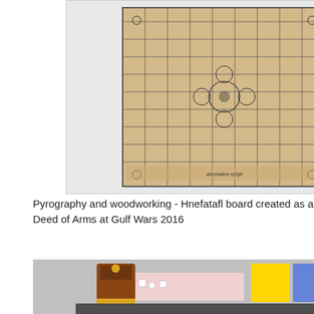[Figure (photo): Photo of a Hnefatafl board with pyrography decoration, showing a grid pattern with ornamental Norse-style designs]
Pyrography and woodworking - Hnefatafl board created as a prize for the Viking Deed of Arms at Gulf Wars 2016
[Figure (photo): Photo of an epic-sized Dice Tower with pyrographied 4 inch dice and matching Gluckhaus board, shown set up with yellow and blue banners in background]
Woodworking, Pyrography - Epic sized Dice Tower, pyrographied 4" dice, and matching Gluckhaus board. Created for the Gulf Wars 2013 Known World Party that the Centurions of Ansteorra ran. The